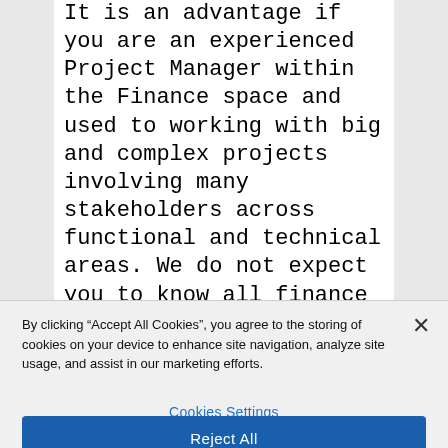It is an advantage if you are an experienced Project Manager within the Finance space and used to working with big and complex projects involving many stakeholders across functional and technical areas. We do not expect you to know all finance processes, system setup or configurations, however, you must be curious and good at asking questions to ensure progress, so that milestones are reached, and
By clicking “Accept All Cookies”, you agree to the storing of cookies on your device to enhance site navigation, analyze site usage, and assist in our marketing efforts.
Cookies Settings
Reject All